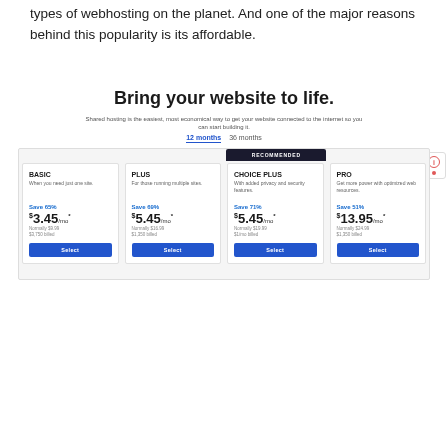types of webhosting on the planet. And one of the major reasons behind this popularity is its affordable.
Bring your website to life.
Shared hosting is the easiest, most economical way to get your website connected to the internet so you can start building it.
12 months  36 months
| BASIC | PLUS | CHOICE PLUS | PRO |
| --- | --- | --- | --- |
| When you need just one site. | For those running multiple sites. | With added privacy and security features. | Get more power with optimized web resources. |
| Save 65% | Save 69% | Save 71% | Save 51% |
| $3.45/mo* | $5.45/mo* | $5.45/mo* | $13.95/mo* |
| Normally $9.99
$3.750 billed | Normally $5.00
$1,350 billed | Normally $9.00
$1/mo billed | Normally $24.99
$1,350 billed |
| Select | Select | Select | Select |